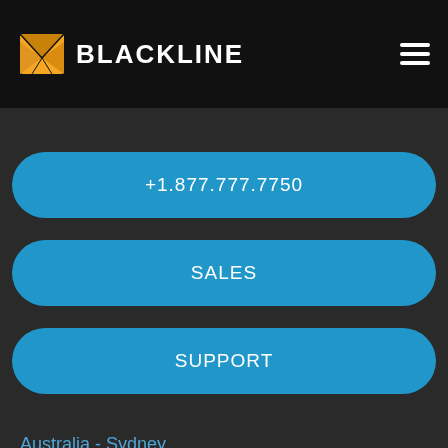BLACKLINE
+1.877.777.7750
SALES
SUPPORT
Australia - Sydney
+61 2 9006 9670